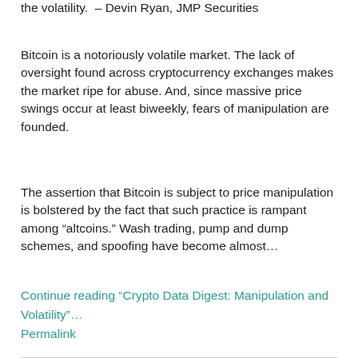the volatility.  – Devin Ryan, JMP Securities
Bitcoin is a notoriously volatile market. The lack of oversight found across cryptocurrency exchanges makes the market ripe for abuse. And, since massive price swings occur at least biweekly, fears of manipulation are founded.
The assertion that Bitcoin is subject to price manipulation is bolstered by the fact that such practice is rampant among “altcoins.” Wash trading, pump and dump schemes, and spoofing have become almost…
Continue reading “Crypto Data Digest: Manipulation and Volatility”…
Permalink